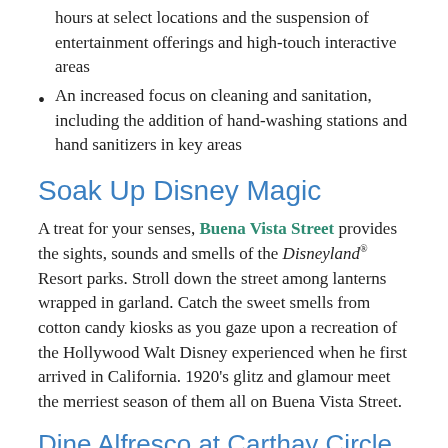hours at select locations and the suspension of entertainment offerings and high-touch interactive areas
An increased focus on cleaning and sanitation, including the addition of hand-washing stations and hand sanitizers in key areas
Soak Up Disney Magic
A treat for your senses, Buena Vista Street provides the sights, sounds and smells of the Disneyland® Resort parks. Stroll down the street among lanterns wrapped in garland. Catch the sweet smells from cotton candy kiosks as you gaze upon a recreation of the Hollywood Walt Disney experienced when he first arrived in California. 1920's glitz and glamour meet the merriest season of them all on Buena Vista Street.
Dine Alfresco at Carthay Circle